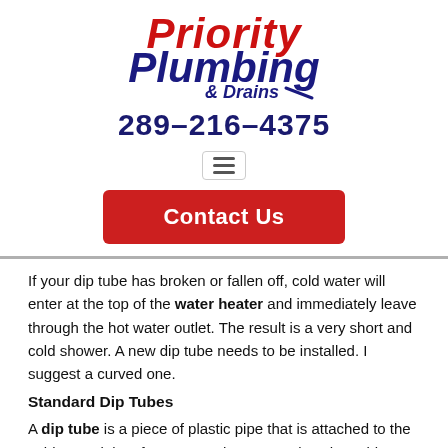[Figure (logo): Priority Plumbing & Drains logo with red and blue stylized text]
289-216-4375
[Figure (other): Hamburger menu icon with three horizontal lines inside a bordered box]
[Figure (other): Red Contact Us button]
If your dip tube has broken or fallen off, cold water will enter at the top of the water heater and immediately leave through the hot water outlet. The result is a very short and cold shower. A new dip tube needs to be installed. I suggest a curved one.
Standard Dip Tubes
A dip tube is a piece of plastic pipe that is attached to the cold water inlet of your water heater. It takes the cold water from the